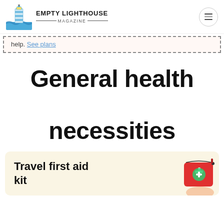EMPTY LIGHTHOUSE MAGAZINE
help. See plans
General health necessities
Travel first aid kit